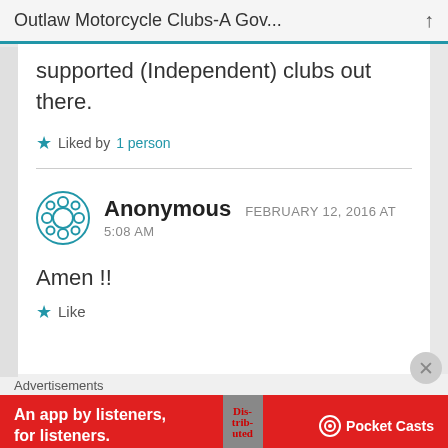Outlaw Motorcycle Clubs-A Gov...
supported (Independent) clubs out there.
★ Liked by 1 person
Anonymous  FEBRUARY 12, 2016 AT 5:08 AM
Amen !!
★ Like
Advertisements
[Figure (infographic): Pocket Casts app advertisement banner on red background reading 'An app by listeners, for listeners.' with Pocket Casts logo and book image]